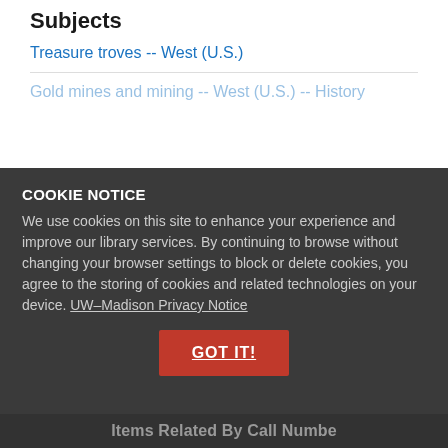Subjects
Treasure troves -- West (U.S.)
Gold mines and mining -- West (U.S.) -- History
COOKIE NOTICE
We use cookies on this site to enhance your experience and improve our library services. By continuing to browse without changing your browser settings to block or delete cookies, you agree to the storing of cookies and related technologies on your device. UW–Madison Privacy Notice
GOT IT!
Items Related By Call Number